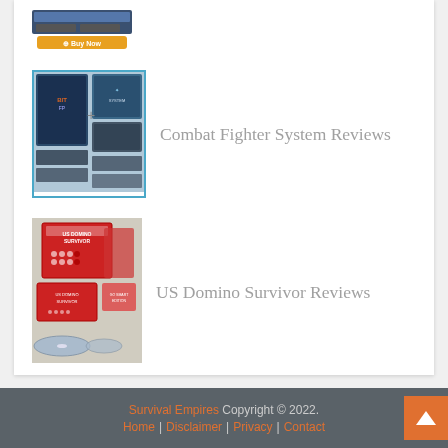[Figure (screenshot): Buy Now button image at top of page]
[Figure (photo): Combat Fighter System product image with blue border]
Combat Fighter System Reviews
[Figure (photo): US Domino Survivor product package image]
US Domino Survivor Reviews
[Figure (photo): SPEC OPS BUSHCRAFTING book cover image]
SPEC OPS BUSHCRAFTING Reviews
Survival Empires Copyright © 2022. Home | Disclaimer | Privacy | Contact